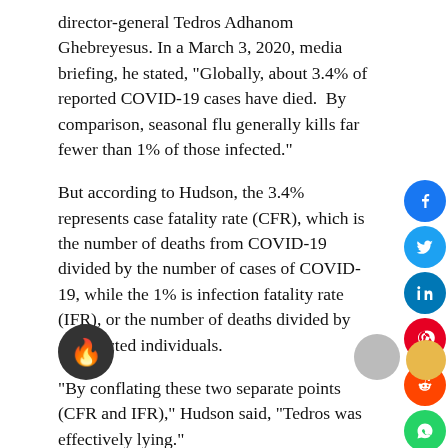director-general Tedros Adhanom Ghebreyesus. In a March 3, 2020, media briefing, he stated, “Globally, about 3.4% of reported COVID-19 cases have died.  By comparison, seasonal flu generally kills far fewer than 1% of those infected.”
But according to Hudson, the 3.4% represents case fatality rate (CFR), which is the number of deaths from COVID-19 divided by the number of cases of COVID-19, while the 1% is infection fatality rate (IFR), or the number of deaths divided by all infected individuals.
“By conflating these two separate points (CFR and IFR),” Hudson said, “Tedros was effectively lying.” Quantitative scientist John Ioannidis, professor of medicine at the Stanford Prevention Research Center, calculated the IFR for COVID-19 in a review of 61